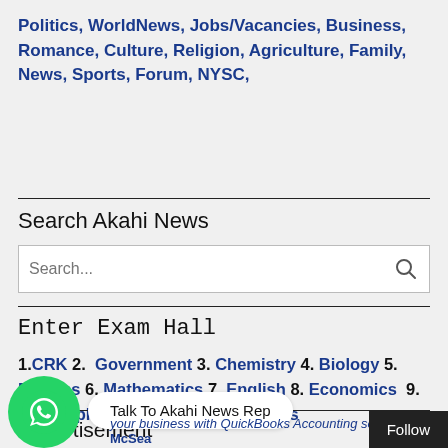Politics, WorldNews, Jobs/Vacancies, Business, Romance, Culture, Religion, Agriculture, Family, News, Sports, Forum, NYSC,
Search Akahi News
[Figure (other): Search input box with search icon]
Enter Exam Hall
1.CRK 2. Government 3. Chemistry 4. Biology 5. Physics 6. Mathematics 7. English 8. Economics 9. Geography 10. Literature 11. Others
Advertisement
[Figure (other): WhatsApp bubble with text: Talk To Akahi News Rep]
your business with QuickBooks Accounting software – McSea
Follow